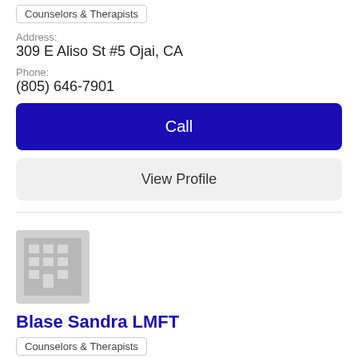Counselors & Therapists
Address:
309 E Aliso St #5 Ojai, CA
Phone:
(805) 646-7901
Call
View Profile
[Figure (illustration): Building/office placeholder icon — gray square with white grid of windows and door]
Blase Sandra LMFT
Counselors & Therapists
Address:
201 Bryant St Ojai, CA
Phone: